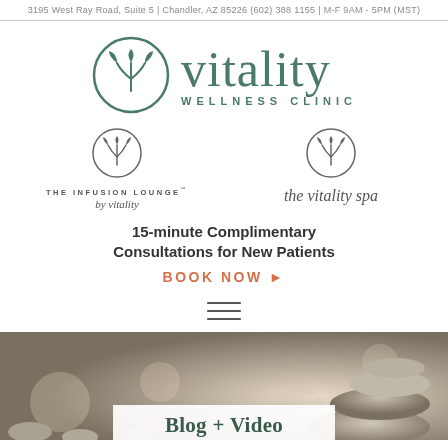3195 West Ray Road, Suite 5 | Chandler, AZ 85226 (602) 388 1155 | M-F 9AM - 5PM (MST)
[Figure (logo): Vitality Wellness Clinic logo: circular leaf/plant icon in teal with 'vitality' in large serif font and 'WELLNESS CLINIC' in spaced caps below]
[Figure (logo): The Infusion Lounge by vitality sub-brand logo: small circular leaf icon, 'THE INFUSION LOUNGE' in spaced caps, 'by vitality' in italic script]
[Figure (logo): the vitality spa sub-brand logo: small circular leaf icon, 'the vitality spa' in serif italic font]
15-minute Complimentary Consultations for New Patients
BOOK NOW ▶
[Figure (other): Hamburger menu icon (three horizontal lines)]
[Figure (photo): Photo of stacked zen stones/pebbles in soft bokeh light background]
Blog + Video